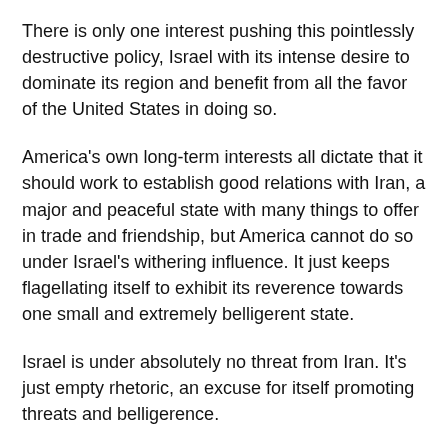There is only one interest pushing this pointlessly destructive policy, Israel with its intense desire to dominate its region and benefit from all the favor of the United States in doing so.
America's own long-term interests all dictate that it should work to establish good relations with Iran, a major and peaceful state with many things to offer in trade and friendship, but America cannot do so under Israel's withering influence. It just keeps flagellating itself to exhibit its reverence towards one small and extremely belligerent state.
Israel is under absolutely no threat from Iran. It's just empty rhetoric, an excuse for itself promoting threats and belligerence.